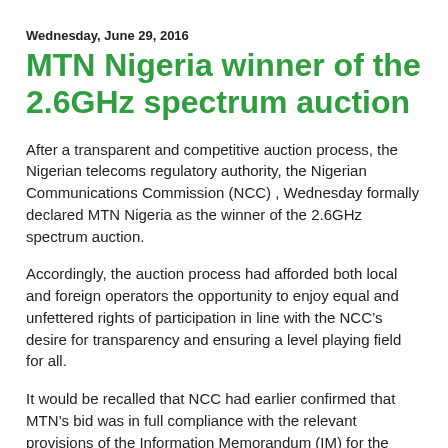Wednesday, June 29, 2016
MTN Nigeria winner of the 2.6GHz spectrum auction
After a transparent and competitive auction process, the Nigerian telecoms regulatory authority, the Nigerian Communications Commission (NCC) , Wednesday formally declared MTN Nigeria as the winner of the 2.6GHz spectrum auction.
Accordingly, the auction process had afforded both local and foreign operators the opportunity to enjoy equal and unfettered rights of participation in line with the NCC’s desire for transparency and ensuring a level playing field for all.
It would be recalled that NCC had earlier confirmed that MTN’s bid was in full compliance with the relevant provisions of the Information Memorandum (IM) for the exercise in which MTN emerged as sole approved bidder.
The NCC has described this spectrum as a significant trigger